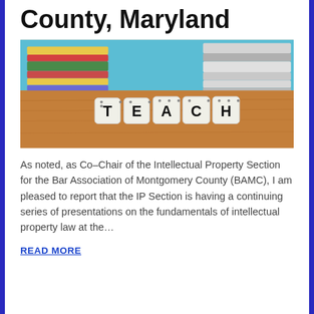County, Maryland
[Figure (photo): Photo showing letter dice spelling 'TEACH' on a wooden surface with stacked books in the background]
As noted, as Co–Chair of the Intellectual Property Section for the Bar Association of Montgomery County (BAMC), I am pleased to report that the IP Section is having a continuing series of presentations on the fundamentals of intellectual property law at the…
READ MORE